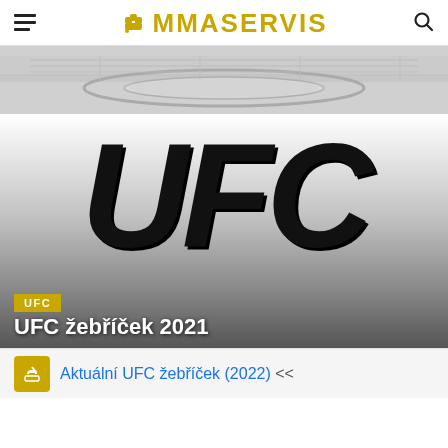MMASERVIS
[Figure (photo): Blurred stadium/arena background banner image in grey tones]
[Figure (logo): Large UFC logo in black bold italic letters on grey gradient background, with UFC category badge and title UFC žebříček 2021]
UFC žebříček 2021
Aktuální UFC žebříček (2022) <<